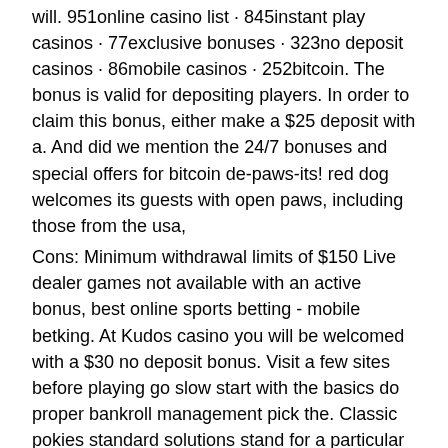will. 951online casino list · 845instant play casinos · 77exclusive bonuses · 323no deposit casinos · 86mobile casinos · 252bitcoin. The bonus is valid for depositing players. In order to claim this bonus, either make a $25 deposit with a. And did we mention the 24/7 bonuses and special offers for bitcoin de-paws-its! red dog welcomes its guests with open paws, including those from the usa,
Cons: Minimum withdrawal limits of $150 Live dealer games not available with an active bonus, best online sports betting - mobile betking. At Kudos casino you will be welcomed with a $30 no deposit bonus. Visit a few sites before playing go slow start with the basics do proper bankroll management pick the. Classic pokies standard solutions stand for a particular number of paylines (usually, not exceeding five), party casino no deposit bonus codes 2022. Online blackjack casinos USA provides players with a wide